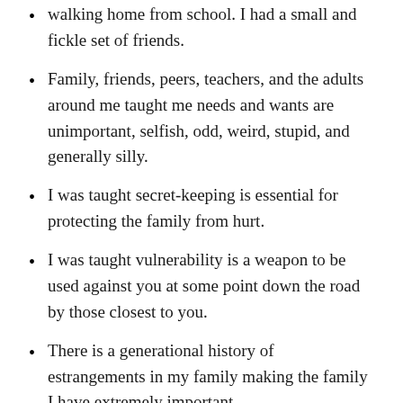walking home from school. I had a small and fickle set of friends.
Family, friends, peers, teachers, and the adults around me taught me needs and wants are unimportant, selfish, odd, weird, stupid, and generally silly.
I was taught secret-keeping is essential for protecting the family from hurt.
I was taught vulnerability is a weapon to be used against you at some point down the road by those closest to you.
There is a generational history of estrangements in my family making the family I have extremely important.
I am an INFP (introversion, intuition, feeling,